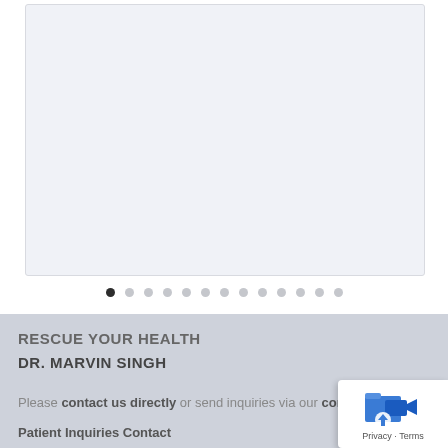[Figure (screenshot): Empty light blue-grey slide/carousel panel with border]
[Figure (other): Carousel navigation dots, 13 dots total, first dot active (dark), rest light grey]
RESCUE YOUR HEALTH
DR. MARVIN SINGH
Please contact us directly or send inquiries via our conta
Patient Inquiries Contact
[Figure (other): Privacy widget overlay with blue folder/video icon and Privacy - Terms label]